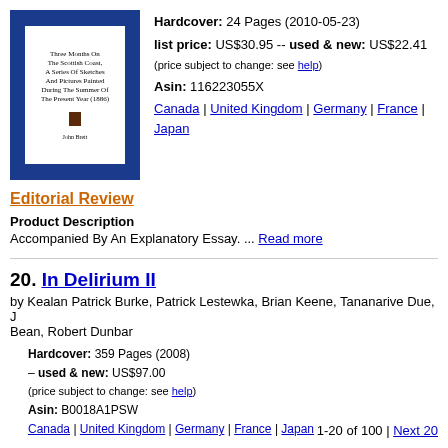[Figure (photo): Book cover image with blue background, showing 'Three Months On The Scottish Coast, A Series Of Sketches And Pictures Painted During The Summer Of The Present Year (1886)' by John Brett]
Hardcover: 24 Pages (2010-05-23)
list price: US$30.95 -- used & new: US$22.41
(price subject to change: see help)
Asin: 116223055X
Canada | United Kingdom | Germany | France | Japan
Editorial Review
Product Description
Accompanied By An Explanatory Essay. ... Read more
20. In Delirium II
by Kealan Patrick Burke, Patrick Lestewka, Brian Keene, Tananarive Due, J Bean, Robert Dunbar
Hardcover: 359 Pages (2008)
-- used & new: US$97.00
(price subject to change: see help)
Asin: B0018A1PSW
Canada | United Kingdom | Germany | France | Japan
1-20 of 100 | Next 20